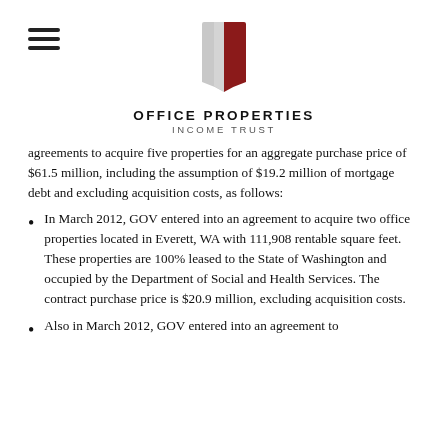[Figure (logo): Office Properties Income Trust logo with stylized book/building icon in red and grey, hamburger menu icon top left]
agreements to acquire five properties for an aggregate purchase price of $61.5 million, including the assumption of $19.2 million of mortgage debt and excluding acquisition costs, as follows:
In March 2012, GOV entered into an agreement to acquire two office properties located in Everett, WA with 111,908 rentable square feet. These properties are 100% leased to the State of Washington and occupied by the Department of Social and Health Services. The contract purchase price is $20.9 million, excluding acquisition costs.
Also in March 2012, GOV entered into an agreement to